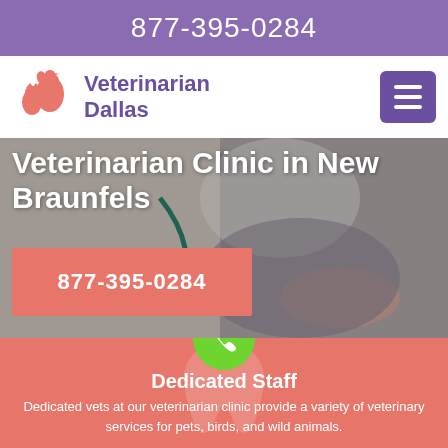877-395-0284
[Figure (logo): Veterinarian Dallas logo with dog, cat, and bird silhouettes in salmon/orange color beside text reading Veterinarian Dallas in purple]
Veterinarian Clinic in New Braunfels
877-395-0284
[Figure (illustration): Green circle with white phone receiver icon]
Dedicated Staff
Dedicated vets at our veterinarian clinic provide a variety of veterinary services for pets, birds, and wild animals.